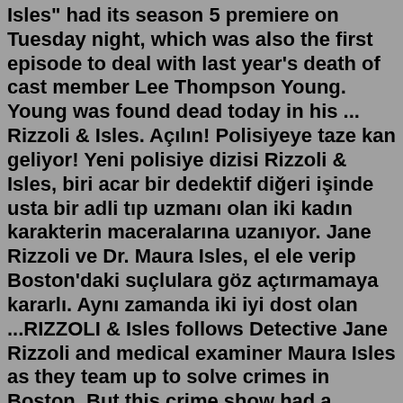Isles" had its season 5 premiere on Tuesday night, which was also the first episode to deal with last year's death of cast member Lee Thompson Young. Young was found dead today in his ... Rizzoli & Isles. Açılın! Polisiyeye taze kan geliyor! Yeni polisiye dizisi Rizzoli & Isles, biri acar bir dedektif diğeri işinde usta bir adli tıp uzmanı olan iki kadın karakterin maceralarına uzanıyor. Jane Rizzoli ve Dr. Maura Isles, el ele verip Boston'daki suçlulara göz açtırmamaya kararlı. Aynı zamanda iki iyi dost olan ...RIZZOLI & Isles follows Detective Jane Rizzoli and medical examiner Maura Isles as they team up to solve crimes in Boston. But this crime show had a refreshing twist as it focused on the teamwork,...23 Aug. 2010. Born to Run. 8.1 (524) Rate. Rizzoli and Dr. Isles run the Massachusetts Marathon and find a dead runner at Mile 3 and Mile 12 marks. Impossible to get back-up, and fearing more deaths from panic and stampede, they silently endeavor to solve the crimes as the race continues. S1, Ep8. New York Times bestselling author Tess Gerritsen named